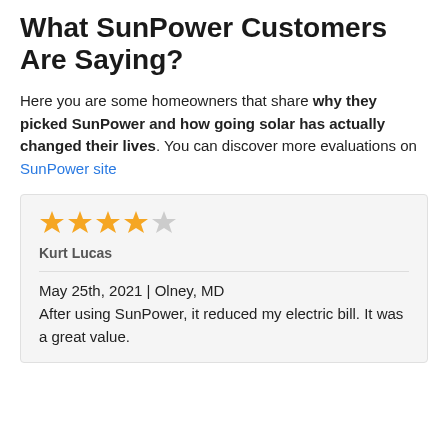What SunPower Customers Are Saying?
Here you are some homeowners that share why they picked SunPower and how going solar has actually changed their lives. You can discover more evaluations on SunPower site
★★★★☆
Kurt Lucas
May 25th, 2021 | Olney, MD
After using SunPower, it reduced my electric bill. It was a great value.